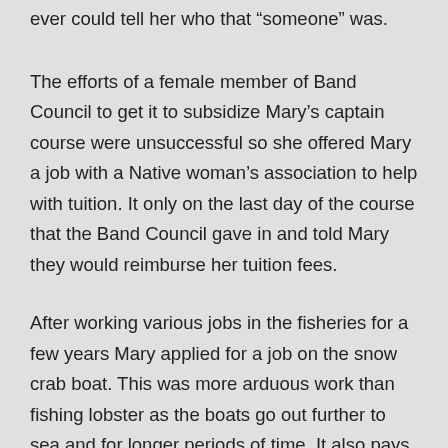ever could tell her who that “someone” was.
The efforts of a female member of Band Council to get it to subsidize Mary’s captain course were unsuccessful so she offered Mary a job with a Native woman’s association to help with tuition. It only on the last day of the course that the Band Council gave in and told Mary they would reimburse her tuition fees.
After working various jobs in the fisheries for a few years Mary applied for a job on the snow crab boat. This was more arduous work than fishing lobster as the boats go out further to sea and for longer periods of time. It also pays more. While Mary was turned down, her husband got a call offering him a job as a deckhand on a snow crab boat despite the fact that all he had